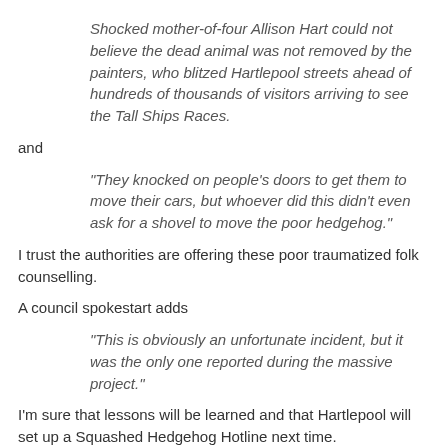Shocked mother-of-four Allison Hart could not believe the dead animal was not removed by the painters, who blitzed Hartlepool streets ahead of hundreds of thousands of visitors arriving to see the Tall Ships Races.
and
"They knocked on people's doors to get them to move their cars, but whoever did this didn't even ask for a shovel to move the poor hedgehog."
I trust the authorities are offering these poor traumatized folk counselling.
A council spokestart adds
"This is obviously an unfortunate incident, but it was the only one reported during the massive project."
I'm sure that lessons will be learned and that Hartlepool will set up a Squashed Hedgehog Hotline next time.